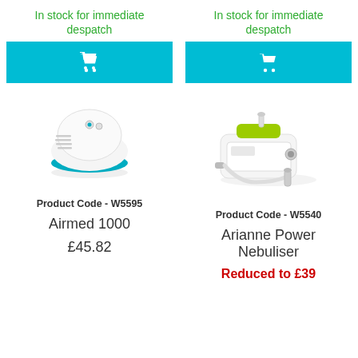In stock for immediate despatch
[Figure (illustration): Cyan/blue add to cart button with white shopping cart icon]
[Figure (photo): Airmed 1000 nebuliser device - compact white and teal dome-shaped unit]
Product Code - W5595
Airmed 1000
£45.82
In stock for immediate despatch
[Figure (illustration): Cyan/blue add to cart button with white shopping cart icon]
[Figure (photo): Arianne Power Nebuliser - white rectangular unit with green accent and tubing]
Product Code - W5540
Arianne Power Nebuliser
Reduced to £39